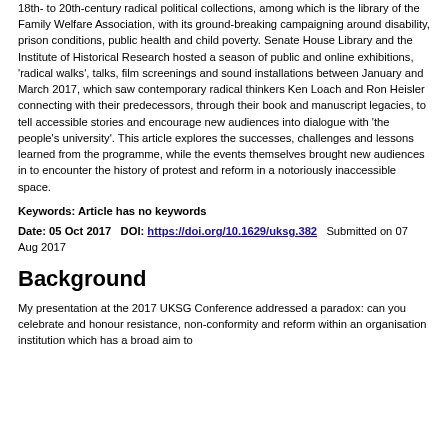18th- to 20th-century radical political collections, among which is the library of the Family Welfare Association, with its ground-breaking campaigning around disability, prison conditions, public health and child poverty. Senate House Library and the Institute of Historical Research hosted a season of public and online exhibitions, 'radical walks', talks, film screenings and sound installations between January and March 2017, which saw contemporary radical thinkers Ken Loach and Ron Heisler connecting with their predecessors, through their book and manuscript legacies, to tell accessible stories and encourage new audiences into dialogue with 'the people's university'. This article explores the successes, challenges and lessons learned from the programme, while the events themselves brought new audiences in to encounter the history of protest and reform in a notoriously inaccessible space.
Keywords: Article has no keywords
Date: 05 Oct 2017   DOI: https://doi.org/10.1629/uksg.382   Submitted on 07 Aug 2017
Background
My presentation at the 2017 UKSG Conference addressed a paradox: can you celebrate and honour resistance, non-conformity and reform within an organisation institution which has a broad aim to